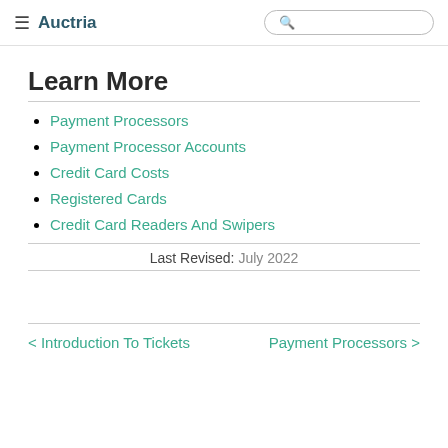≡ Auctria [search]
Learn More
Payment Processors
Payment Processor Accounts
Credit Card Costs
Registered Cards
Credit Card Readers And Swipers
Last Revised: July 2022
< Introduction To Tickets    Payment Processors >